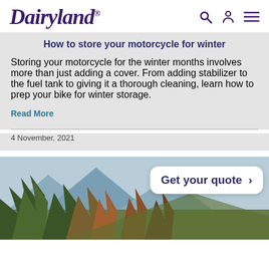[Figure (logo): Dairyland logo in dark purple italic serif font with registered trademark symbol]
How to store your motorcycle for winter
Storing your motorcycle for the winter months involves more than just adding a cover. From adding stabilizer to the fuel tank to giving it a thorough cleaning, learn how to prep your bike for winter storage.
Read More
4 November, 2021
[Figure (photo): Autumn mountain landscape with trees in fall colors and mountains in the background]
Get your quote >